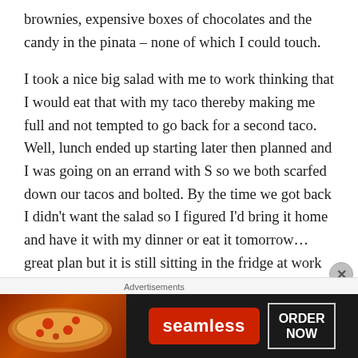brownies, expensive boxes of chocolates and the candy in the pinata – none of which I could touch.

I took a nice big salad with me to work thinking that I would eat that with my taco thereby making me full and not tempted to go back for a second taco. Well, lunch ended up starting later then planned and I was going on an errand with S so we both scarfed down our tacos and bolted. By the time we got back I didn't want the salad so I figured I'd bring it home and have it with my dinner or eat it tomorrow…great plan but it is still sitting in the fridge at work cause I totally forgot about it. sigh. Hopefully it'll still be ok on monday! Mid afternoon I was getting peckish so I
[Figure (other): Advertisement banner for Seamless food ordering service showing pizza image on the left, Seamless logo in red in the center, and ORDER NOW button on the right against a dark background.]